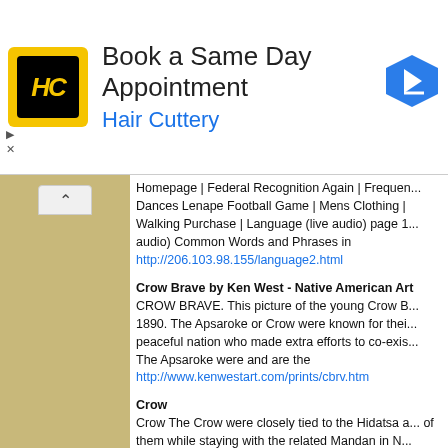[Figure (screenshot): Hair Cuttery advertisement banner: logo with HC initials in black on yellow background, text 'Book a Same Day Appointment', 'Hair Cuttery', blue navigation arrow icon, play/close controls]
Homepage | Federal Recognition Again | Frequent... Dances Lenape Football Game | Mens Clothing | Walking Purchase | Language (live audio) page 1... audio) Common Words and Phrases in
http://206.103.98.155/language2.html
Crow Brave by Ken West - Native American Art CROW BRAVE. This picture of the young Crow B... 1890. The Apsaroke or Crow were known for thei... peaceful nation who made extra efforts to co-exis... The Apsaroke were and are the
http://www.kenwestart.com/prints/cbrv.htm
Crow
Crow The Crow were closely tied to the Hidatsa a... of them while staying with the related Mandan in N... Hidatsa spoke a common language known as Abs... areas around the Tongue
http://www.lewisandclark.state.mt.us/crow1.htm
Julia White - Looking Back - The Crow THE GROS VENTRE (pronounced grow-VAHN-tr... "White Clay People"; the Arapaho called them the... name given by the French traders that has staye...